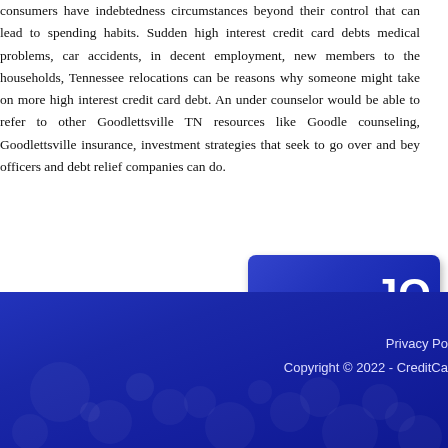consumers have indebtedness circumstances beyond their control that can lead to spending habits. Sudden high interest credit card debts medical problems, car accidents, in decent employment, new members to the households, Tennessee relocations can be reasons why someone might take on more high interest credit card debt. An under counselor would be able to refer to other Goodlettsville TN resources like Goodle counseling, Goodlettsville insurance, investment strategies that seek to go over and bey officers and debt relief companies can do.
[Figure (screenshot): Blue button with bold white text 'JO' (partially visible) and an input field below it]
Privacy Po
Copyright © 2022 - CreditCa